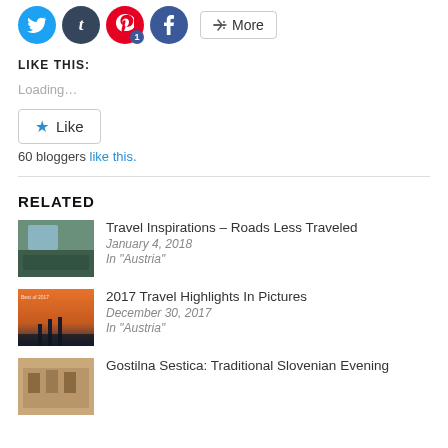[Figure (screenshot): Social media sharing icons row: Twitter (blue circle), Tumblr (dark blue circle), Pinterest (red circle with badge '1'), Facebook (blue circle), and a 'More' button]
LIKE THIS:
Loading…
[Figure (screenshot): Like button with blue star icon]
60 bloggers like this.
RELATED
[Figure (photo): Thumbnail image for Travel Inspirations – Roads Less Traveled article]
Travel Inspirations – Roads Less Traveled
January 4, 2018
In "Austria"
[Figure (photo): Thumbnail image for 2017 Travel Highlights In Pictures article]
2017 Travel Highlights In Pictures
December 30, 2017
In "Austria"
[Figure (photo): Thumbnail image for Gostilna Sestica: Traditional Slovenian Evening article]
Gostilna Sestica: Traditional Slovenian Evening